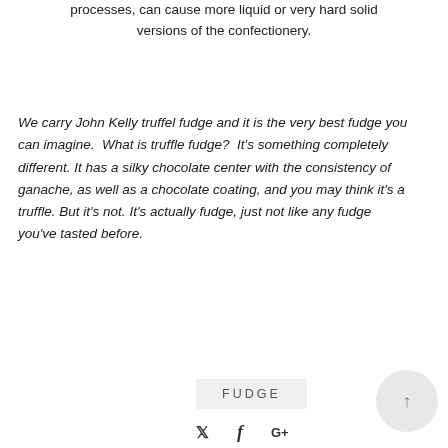processes, can cause more liquid or very hard solid versions of the confectionery.
We carry John Kelly truffel fudge and it is the very best fudge you can imagine. What is truffle fudge? It's something completely different. It has a silky chocolate center with the consistency of ganache, as well as a chocolate coating, and you may think it's a truffle. But it's not. It's actually fudge, just not like any fudge you've tasted before.
FUDGE